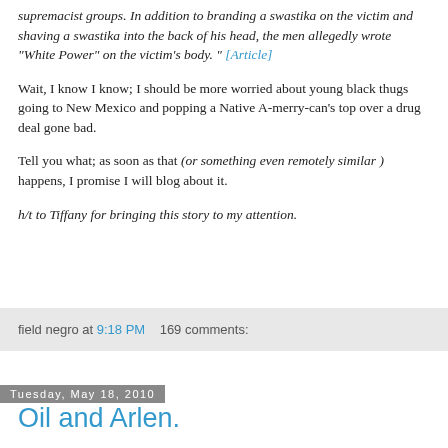supremacist groups. In addition to branding a swastika on the victim and shaving a swastika into the back of his head, the men allegedly wrote "White Power" on the victim's body. " [Article]
Wait, I know I know; I should be more worried about young black thugs going to New Mexico and popping a Native A-merry-can's top over a drug deal gone bad.
Tell you what; as soon as that (or something even remotely similar ) happens, I promise I will blog about it.
h/t to Tiffany for bringing this story to my attention.
field negro at 9:18 PM    169 comments:
Tuesday, May 18, 2010
Oil and Arlen.